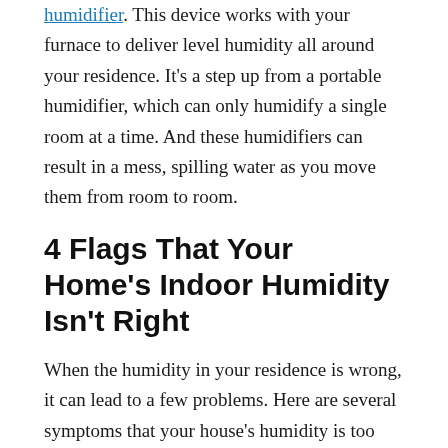humidifier. This device works with your furnace to deliver level humidity all around your residence. It's a step up from a portable humidifier, which can only humidify a single room at a time. And these humidifiers can result in a mess, spilling water as you move them from room to room.
4 Flags That Your Home's Indoor Humidity Isn't Right
When the humidity in your residence is wrong, it can lead to a few problems. Here are several symptoms that your house's humidity is too low.
You aren't sleeping deeply. The National Sleep Foundation says extremely dry air can make you more likely to get sick, since your